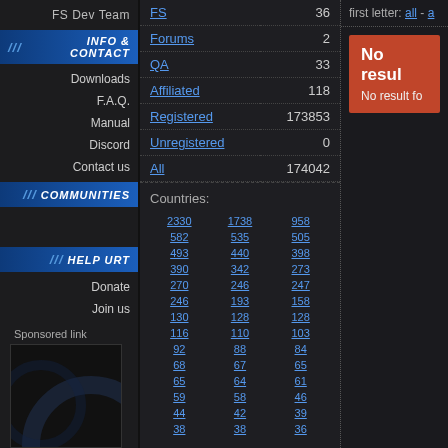FS Dev Team
INFO & CONTACT
Downloads
F.A.Q.
Manual
Discord
Contact us
COMMUNITIES
HELP URT
Donate
Join us
Sponsored link
| Category | Count |
| --- | --- |
| FS | 36 |
| Forums | 2 |
| QA | 33 |
| Affiliated | 118 |
| Registered | 173853 |
| Unregistered | 0 |
| All | 174042 |
Countries:
2330 1738 958 582 535 505 493 440 398 390 342 273 270 246 247 246 193 158 130 128 128 116 110 103 92 88 84 68 67 65 65 64 61 59 58 46 44 42 39 38 38 36
first letter: all - a
No resul
No result fo